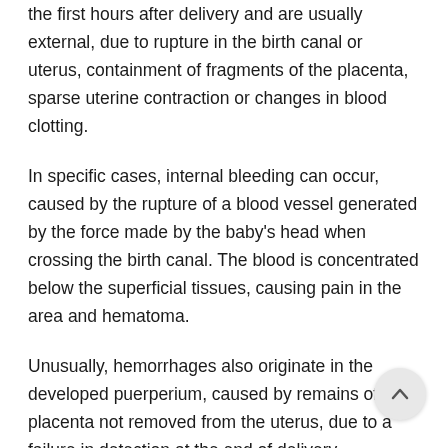the first hours after delivery and are usually external, due to rupture in the birth canal or uterus, containment of fragments of the placenta, sparse uterine contraction or changes in blood clotting.
In specific cases, internal bleeding can occur, caused by the rupture of a blood vessel generated by the force made by the baby's head when crossing the birth canal. The blood is concentrated below the superficial tissues, causing pain in the area and hematoma.
Unusually, hemorrhages also originate in the developed puerperium, caused by remains of the placenta not removed from the uterus, due to a failure in detection at the end of delivery.
Normally, the bleeding will go away on its own within a few days, but the woman can undergo medical treatment as